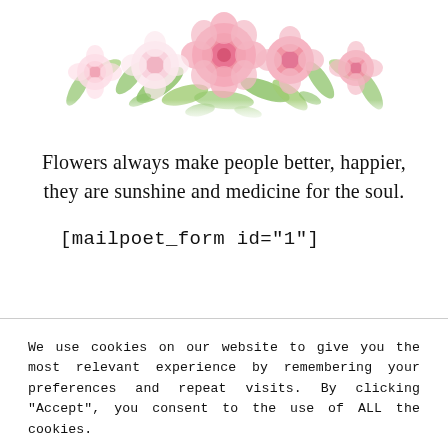[Figure (illustration): Decorative floral banner with pink and white roses and green leaves arranged along the top of the page.]
Flowers always make people better, happier, they are sunshine and medicine for the soul.
[mailpoet_form id="1"]
We use cookies on our website to give you the most relevant experience by remembering your preferences and repeat visits. By clicking “Accept”, you consent to the use of ALL the cookies.
Cookie settings
ACCEPT